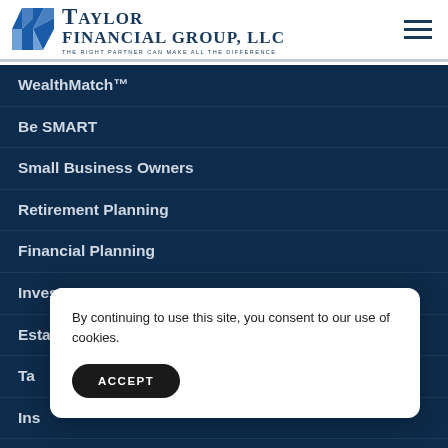Taylor Financial Group, LLC — THE RIGHT PARTNER CAN MAKE ALL THE DIFFERENCE
WealthMatch™
Be SMART
Small Business Owners
Retirement Planning
Financial Planning
Investment Management
Estate Planning
Ta…
Ins…
By continuing to use this site, you consent to our use of cookies.
ACCEPT